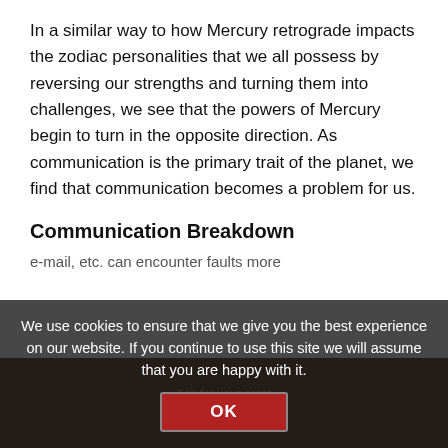In a similar way to how Mercury retrograde impacts the zodiac personalities that we all possess by reversing our strengths and turning them into challenges, we see that the powers of Mercury begin to turn in the opposite direction. As communication is the primary trait of the planet, we find that communication becomes a problem for us.
Communication Breakdown
e-mail, etc. can encounter faults more
We use cookies to ensure that we give you the best experience on our website. If you continue to use this site we will assume that you are happy with it.